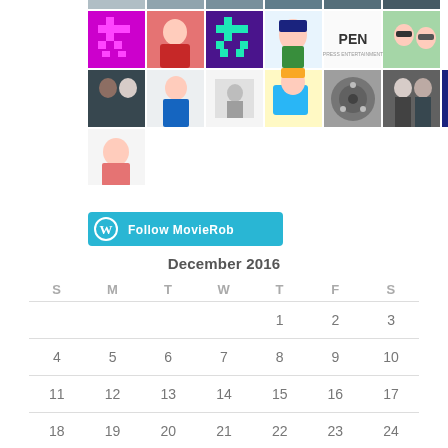[Figure (photo): Grid of user avatar photos and profile images, two rows of 7 plus one additional avatar]
[Figure (illustration): Follow MovieRob button with WordPress logo in teal/cyan color]
| S | M | T | W | T | F | S |
| --- | --- | --- | --- | --- | --- | --- |
|  |  |  |  | 1 | 2 | 3 |
| 4 | 5 | 6 | 7 | 8 | 9 | 10 |
| 11 | 12 | 13 | 14 | 15 | 16 | 17 |
| 18 | 19 | 20 | 21 | 22 | 23 | 24 |